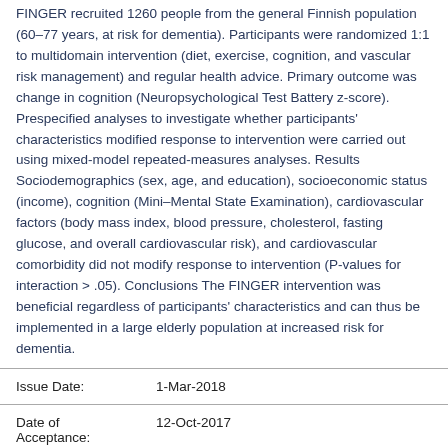FINGER recruited 1260 people from the general Finnish population (60–77 years, at risk for dementia). Participants were randomized 1:1 to multidomain intervention (diet, exercise, cognition, and vascular risk management) and regular health advice. Primary outcome was change in cognition (Neuropsychological Test Battery z-score). Prespecified analyses to investigate whether participants' characteristics modified response to intervention were carried out using mixed-model repeated-measures analyses. Results Sociodemographics (sex, age, and education), socioeconomic status (income), cognition (Mini–Mental State Examination), cardiovascular factors (body mass index, blood pressure, cholesterol, fasting glucose, and overall cardiovascular risk), and cardiovascular comorbidity did not modify response to intervention (P-values for interaction > .05). Conclusions The FINGER intervention was beneficial regardless of participants' characteristics and can thus be implemented in a large elderly population at increased risk for dementia.
| Field | Value |
| --- | --- |
| Issue Date: | 1-Mar-2018 |
| Date of Acceptance: | 12-Oct-2017 |
| URI: | http://hdl.handle.net/10044/1/84542 |